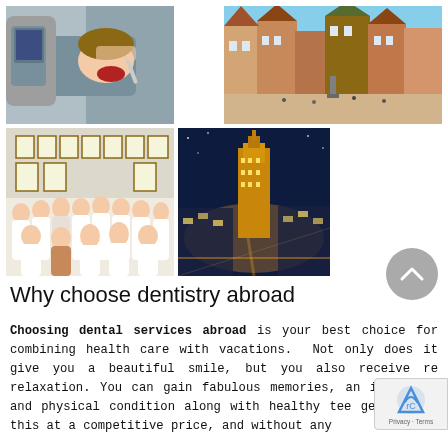[Figure (photo): Dental patient receiving treatment in a dental chair]
[Figure (photo): European city square with colorful historic buildings]
[Figure (photo): Group photo of dental staff in white uniforms in a clinic with diplomas on the wall]
[Figure (photo): Night aerial view of a city with a tall lit tower building]
Why choose dentistry abroad
Choosing dental services abroad is your best choice for combining health care with vacations. Not only does it give you a beautiful smile, but you also receive re relaxation. You can gain fabulous memories, an im mental and physical condition along with healthy tee get all of this at a competitive price, and without any